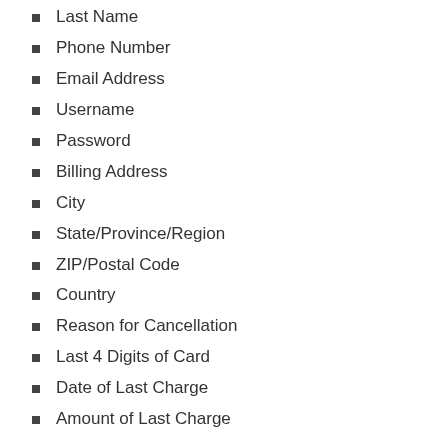Last Name
Phone Number
Email Address
Username
Password
Billing Address
City
State/Province/Region
ZIP/Postal Code
Country
Reason for Cancellation
Last 4 Digits of Card
Date of Last Charge
Amount of Last Charge
To cancel by Phone (Live Agent):
Pick up your phone and call 877-828-3952
Tell the representative that you'd like to cancel